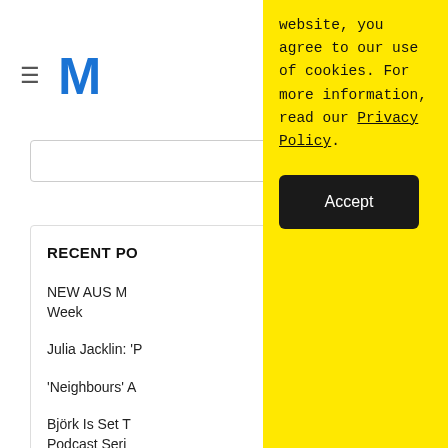M
RECENT PO[STS]
NEW AUS M[USIC THIS] Week
Julia Jacklin: 'P[...]
'Neighbours' [...]
Björk Is Set T[o Release] Podcast Seri[es...]
Cash Savage [...]
ARCHIVES
website, you agree to our use of cookies. For more information, read our Privacy Policy
Accept